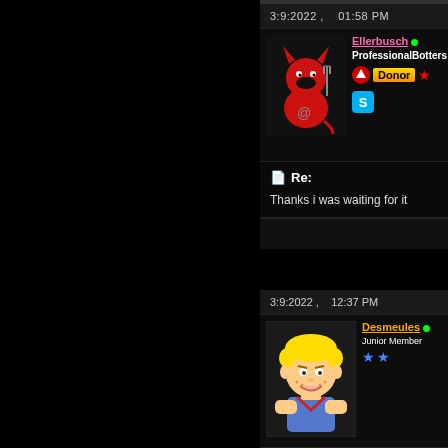3:9:2022 ,   01:58 PM
Ellerbusch • ProfessionalBotters Donor ★
Re:
Thanks i was waiting for it
3:9:2022 ,   12:37 PM
Desmeules • Junior Member ★★
Re: Anydvd and anydvd h